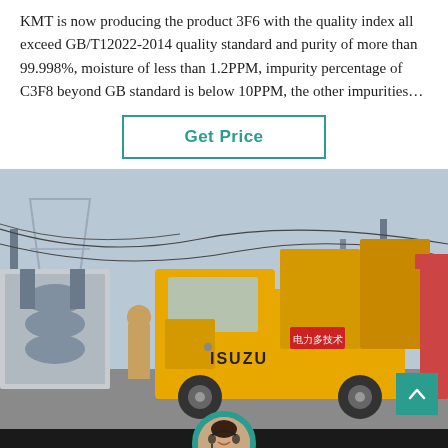KMT is now producing the product 3F6 with the quality index all exceed GB/T12022-2014 quality standard and purity of more than 99.998%, moisture of less than 1.2PPM, impurity percentage of C3F8 beyond GB standard is below 10PPM, the other impurities…
Get Price
[Figure (photo): A yellow ISUZU truck at an industrial/electrical substation site with large electrical equipment and transmission towers. A person stands near the truck. Scene appears to be at a power utility site.]
Leave Message
Chat Online